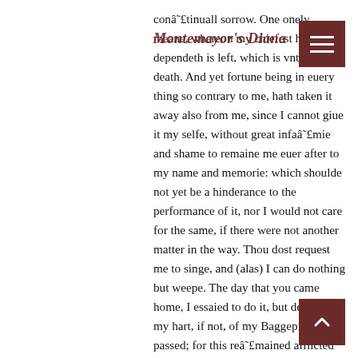Montemayor's Diana
conâ˜£tinuall sorrow. One onely meane, whereon my chiefest hope dependeth is left, which is vntimely death. And yet fortune being in euery thing so contrary to me, hath taken it away also from me, since I cannot giue it my selfe, without great infaâ˜£mie and shame to remaine me euer after to my name and memorie: which shoulde not yet be a hinderance to the performance of it, nor I would not care for the same, if there were not another matter in the way. Thou dost request me to singe, and (alas) I can do nothing but weepe. The day that you came home, I essaied to do it, but demand of my hart, if not, of my Baggepipe what passed; for this reâ˜£mained afflicted and full of greefe, and that throwen away in a profounde and